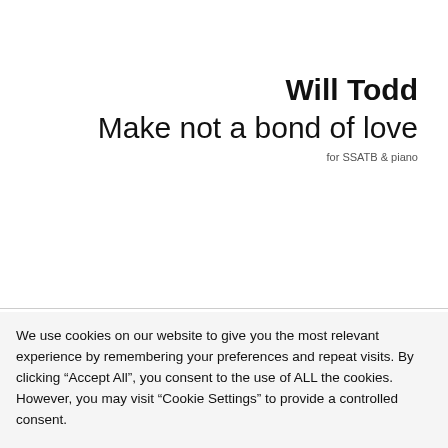Will Todd
Make not a bond of love
for SSATB & piano
We use cookies on our website to give you the most relevant experience by remembering your preferences and repeat visits. By clicking “Accept All”, you consent to the use of ALL the cookies. However, you may visit “Cookie Settings” to provide a controlled consent.